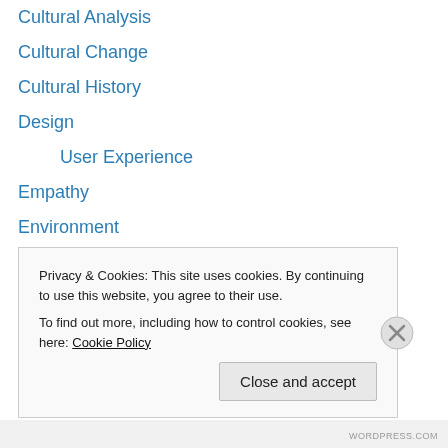Cultural Analysis
Cultural Change
Cultural History
Design
User Experience
Empathy
Environment
Ethnographic Fiction
Ethnography
Evolution
Genre
Healing
Identity
Innovation
Privacy & Cookies: This site uses cookies. By continuing to use this website, you agree to their use.
To find out more, including how to control cookies, see here: Cookie Policy
WORDPRESS.COM